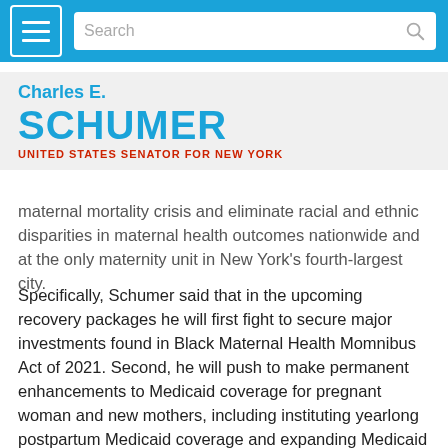Charles E. Schumer — United States Senator for New York — website header with navigation and search bar
Charles E. SCHUMER
UNITED STATES SENATOR FOR NEW YORK
maternal mortality crisis and eliminate racial and ethnic disparities in maternal health outcomes nationwide and at the only maternity unit in New York's fourth-largest city.
Specifically, Schumer said that in the upcoming recovery packages he will first fight to secure major investments found in Black Maternal Health Momnibus Act of 2021. Second, he will push to make permanent enhancements to Medicaid coverage for pregnant woman and new mothers, including instituting yearlong postpartum Medicaid coverage and expanding Medicaid benefits to include doulas and midwives. Finally, Schumer announced that he will push to invest over $500,000 in the St. John's